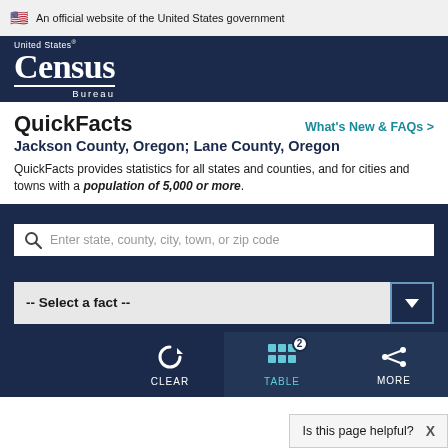🇺🇸 An official website of the United States government
[Figure (logo): United States Census Bureau logo — white text on dark navy background]
QuickFacts
Jackson County, Oregon; Lane County, Oregon
QuickFacts provides statistics for all states and counties, and for cities and towns with a population of 5,000 or more.
Enter state, county, city, town, or zip code
-- Select a fact --
CLEAR
TABLE
MORE
Is this page helpful?